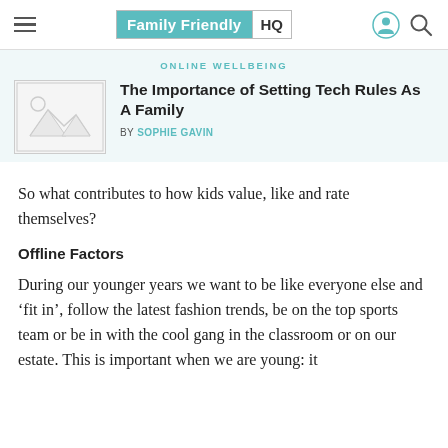Family Friendly HQ
ONLINE WELLBEING
The Importance of Setting Tech Rules As A Family
BY SOPHIE GAVIN
[Figure (photo): Placeholder image thumbnail for article]
So what contributes to how kids value, like and rate themselves?
Offline Factors
During our younger years we want to be like everyone else and ‘fit in’, follow the latest fashion trends, be on the top sports team or be in with the cool gang in the classroom or on our estate. This is important when we are young: it